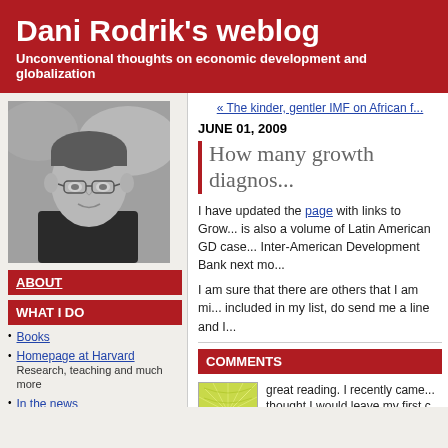Dani Rodrik's weblog
Unconventional thoughts on economic development and globalization
[Figure (photo): Black and white portrait photo of Dani Rodrik, a middle-aged man with glasses]
ABOUT
WHAT I DO
Books
Homepage at Harvard
Research, teaching and much more
In the news
Research papers
Short pieces and commentary
Videos
ME AT WORK
« The kinder, gentler IMF on African f...
JUNE 01, 2009
How many growth diagnos...
I have updated the page with links to Growth Diagnostics studies. There is also a volume of Latin American GD cases published by the Inter-American Development Bank next mo...
I am sure that there are others that I am missing. If you have something included in my list, do send me a line and I...
COMMENTS
[Figure (illustration): Green and yellow abstract avatar icon with radiating lines pattern]
great reading. I recently came... thought I would leave my first c... points in it.. Nice blog. I will ke... the site http://www.super-e-w...